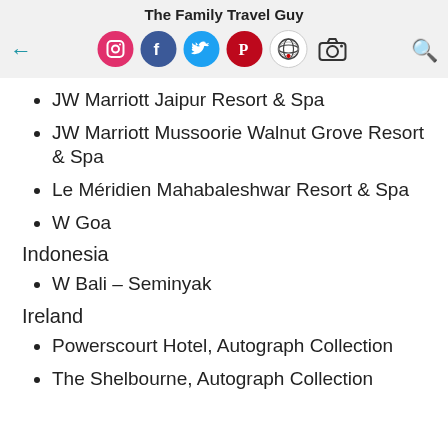The Family Travel Guy
JW Marriott Jaipur Resort & Spa
JW Marriott Mussoorie Walnut Grove Resort & Spa
Le Méridien Mahabaleshwar Resort & Spa
W Goa
Indonesia
W Bali – Seminyak
Ireland
Powerscourt Hotel, Autograph Collection
The Shelbourne, Autograph Collection